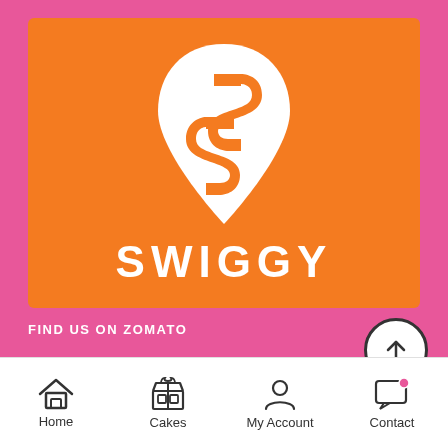[Figure (logo): Swiggy logo on orange background — white teardrop/location-pin shape containing a stylized 'S', with the word SWIGGY in bold white letters below]
FIND US ON ZOMATO
[Figure (infographic): Small blue document/file icon near the bottom of the pink section]
Home
Cakes
My Account
Contact